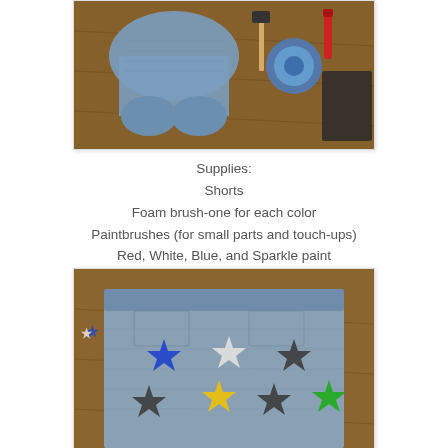[Figure (photo): Photo of denim shorts on a wooden floor with craft supplies including painter's tape roll, a foam brush, and a red marker]
Supplies:
Shorts
Foam brush-one for each color
Paintbrushes (for small parts and touch-ups)
Red, White, Blue, and Sparkle paint
Painter's tape
Foam stars
Show on Netflix
Blogs to read while paint dries
[Figure (photo): Photo of denim shorts laid flat on a wooden floor with colorful foam stars placed on top: blue, white, dark, yellow, dark, dark, green stars arranged on the shorts]